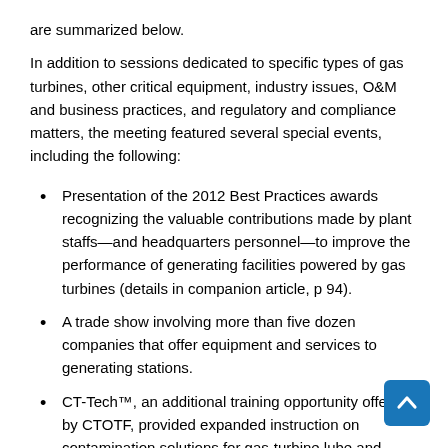are summarized below.
In addition to sessions dedicated to specific types of gas turbines, other critical equipment, industry issues, O&M and business practices, and regulatory and compliance matters, the meeting featured several special events, including the following:
Presentation of the 2012 Best Practices awards recognizing the valuable contributions made by plant staffs—and headquarters personnel—to improve the performance of generating facilities powered by gas turbines (details in companion article, p 94).
A trade show involving more than five dozen companies that offer equipment and services to generating stations.
CT-Tech™, an additional training opportunity offered by CTOTF, provided expanded instruction on contamination solutions for gas-turbine lube and hydraulic systems. The three-hour evening program was conducted by subject-